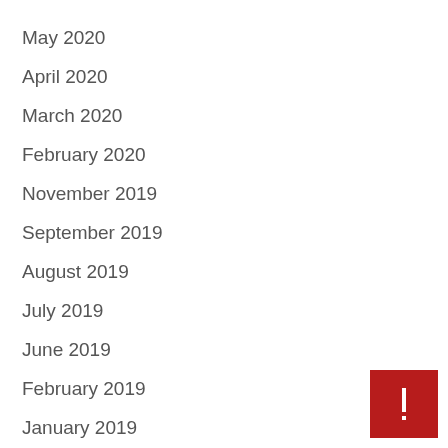May 2020
April 2020
March 2020
February 2020
November 2019
September 2019
August 2019
July 2019
June 2019
February 2019
January 2019
December 2018
November 2018